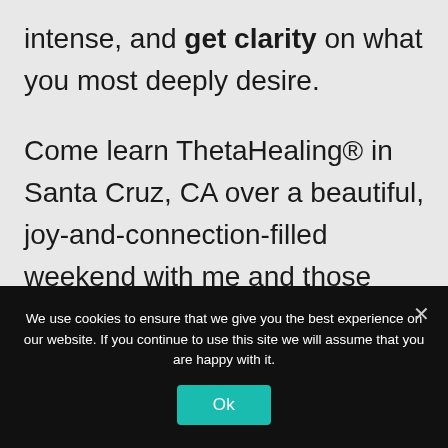intense, and get clarity on what you most deeply desire.
Come learn ThetaHealing® in Santa Cruz, CA over a beautiful, joy-and-connection-filled weekend with me and those who will become your new theta family.
Basic Theta Exercises:
We use cookies to ensure that we give you the best experience on our website. If you continue to use this site we will assume that you are happy with it.